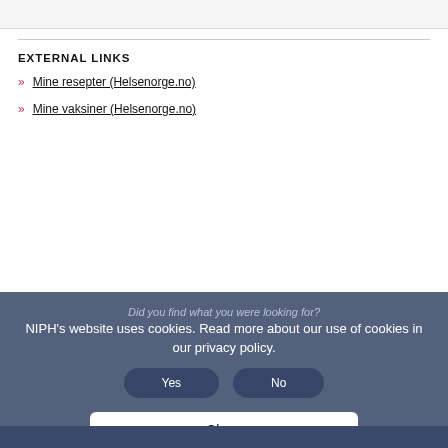EXTERNAL LINKS
Mine resepter (Helsenorge.no)
Mine vaksiner (Helsenorge.no)
Did you find what you were looking for?
NIPH's website uses cookies. Read more about our use of cookies in our privacy policy.
Close